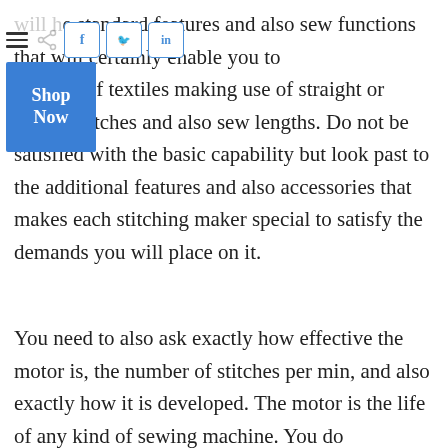[Figure (other): Toolbar with hamburger menu, share icon, and social media buttons (f, bird/twitter, in) followed by a blue Shop Now button]
e standard features and also sew functions that will certainly enable you to election of textiles making use of straight or zigzag stitches and also sew lengths. Do not be satisfied with the basic capability but look past to the additional features and also accessories that makes each stitching maker special to satisfy the demands you will place on it.
You need to also ask exactly how effective the motor is, the number of stitches per min, and also exactly how it is developed. The motor is the life of any kind of sewing machine. You do